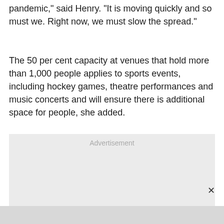pandemic," said Henry. "It is moving quickly and so must we. Right now, we must slow the spread."
The 50 per cent capacity at venues that hold more than 1,000 people applies to sports events, including hockey games, theatre performances and music concerts and will ensure there is additional space for people, she added.
[Figure (other): Advertisement placeholder box with 'Advertisement' label and close button (×)]